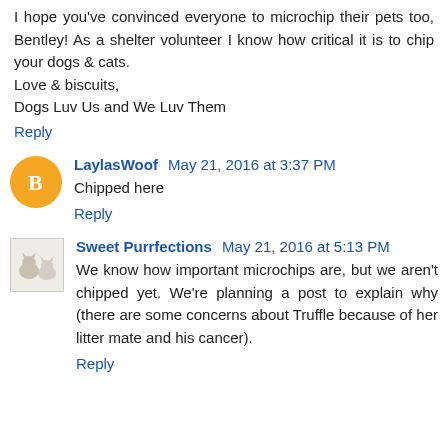I hope you've convinced everyone to microchip their pets too, Bentley! As a shelter volunteer I know how critical it is to chip your dogs & cats.
Love & biscuits,
Dogs Luv Us and We Luv Them
Reply
LaylasWoof  May 21, 2016 at 3:37 PM
Chipped here
Reply
Sweet Purrfections  May 21, 2016 at 5:13 PM
We know how important microchips are, but we aren't chipped yet. We're planning a post to explain why (there are some concerns about Truffle because of her litter mate and his cancer).
Reply